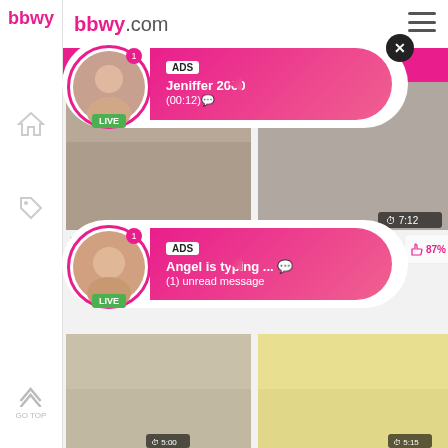[Figure (screenshot): Adult video website screenshot with sidebar navigation, video thumbnails, and two advertisement popups showing live user notifications. First ad: 'Jeniffer 2000 (00:12)'. Second ad: 'Angel is typing ... (1) unread message'. Videos shown: 'Horny Milfs Hairy Pussy' 82% 608 views, 'Older Gents Spit Roast A' 87% 414 views, and two more video thumbnails below.]